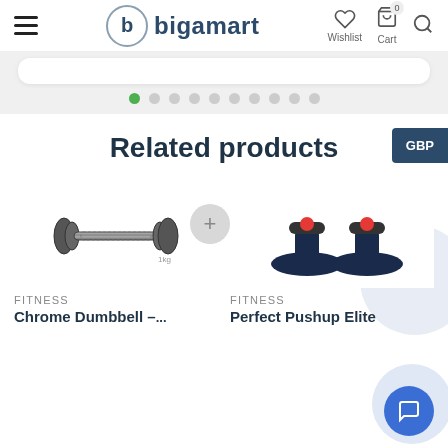bigamart — Wishlist, Cart, Search
[Figure (screenshot): Slider banner area with pagination dots (1 active green dot out of 10)]
Related products
GBP
[Figure (photo): Chrome Dumbbell product image]
FITNESS
Chrome Dumbbell –...
[Figure (photo): Perfect Pushup Elite product image]
FITNESS
Perfect Pushup Elite